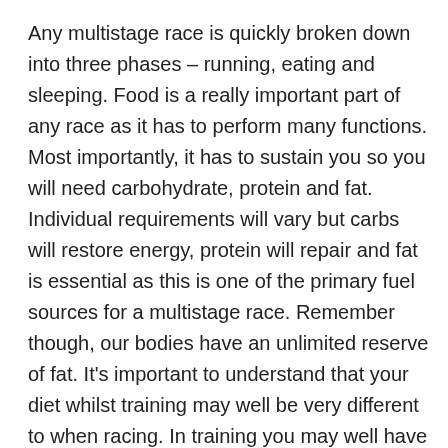Any multistage race is quickly broken down into three phases – running, eating and sleeping. Food is a really important part of any race as it has to perform many functions. Most importantly, it has to sustain you so you will need carbohydrate, protein and fat. Individual requirements will vary but carbs will restore energy, protein will repair and fat is essential as this is one of the primary fuel sources for a multistage race. Remember though, our bodies have an unlimited reserve of fat. It's important to understand that your diet whilst training may well be very different to when racing. In training you may well have eaten less carbs to teach your body to use fat, but when racing, you need to recover and be ready to run/race again the next day. Have variety in your food as your palette will change with fatigue, dehydration and heat.